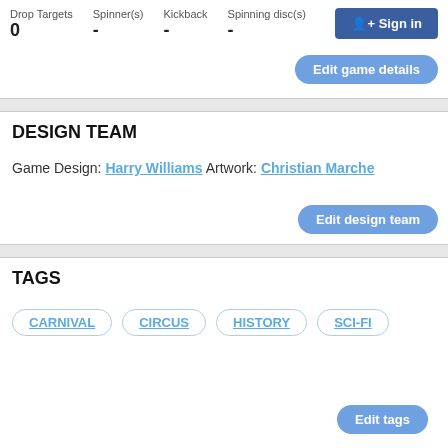| Drop Targets | Spinner(s) | Kickback | Spinning disc(s) |
| --- | --- | --- | --- |
| 0 | - | - | - |
Sign in
Edit game details
DESIGN TEAM
Game Design: Harry Williams Artwork: Christian Marche
Edit design team
TAGS
CARNIVAL
CIRCUS
HISTORY
SCI-FI
Edit tags